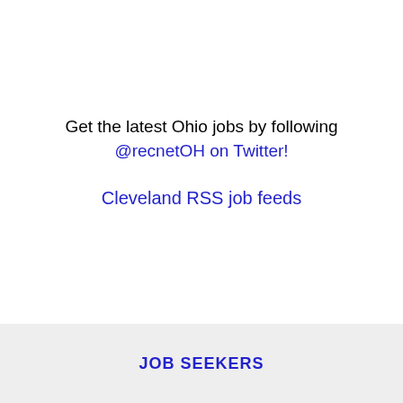Get the latest Ohio jobs by following @recnetOH on Twitter!
Cleveland RSS job feeds
JOB SEEKERS